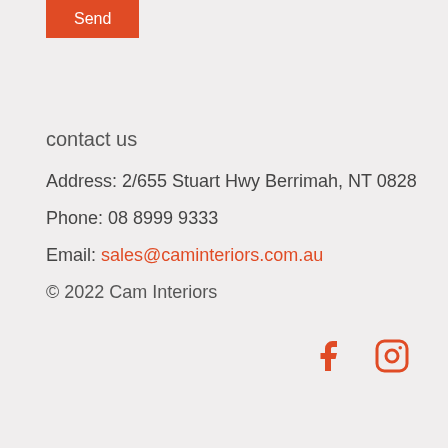Send
contact us
Address: 2/655 Stuart Hwy Berrimah, NT 0828
Phone: 08 8999 9333
Email: sales@caminteriors.com.au
© 2022 Cam Interiors
[Figure (illustration): Facebook and Instagram social media icons in orange]